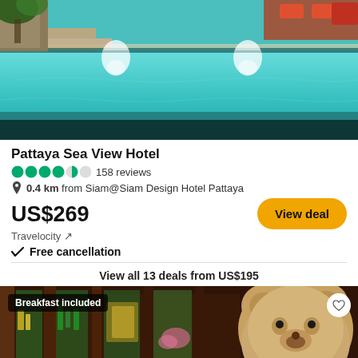[Figure (photo): Outdoor swimming pool with teal/turquoise water, stone surround, water features, tropical plants, orange lounge chairs in background]
Pattaya Sea View Hotel
4.5 stars (circles) 158 reviews
0.4 km from Siam@Siam Design Hotel Pattaya
US$269
Travelocity ↗
✓ Free cancellation
View all 13 deals from US$195
[Figure (photo): Hotel lobby/bar area with dark wood decor, colorful bottles, large teddy bear visible on right side. Badge: Breakfast included]
Booking.com ↗
US$52
View deal